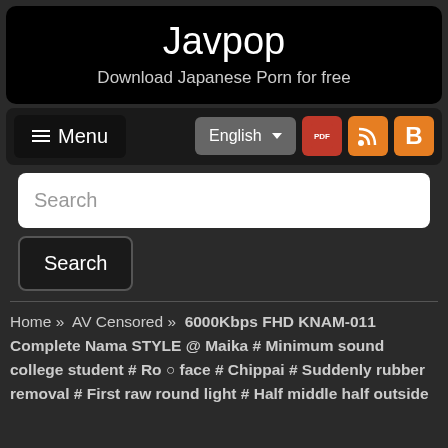Javpop
Download Japanese Porn for free
[Figure (screenshot): Navigation bar with hamburger Menu button, English language selector, PDF icon, RSS icon, and Blogger icon]
[Figure (screenshot): Search input field and Search button]
Home » AV Censored » 6000Kbps FHD KNAM-011 Complete Nama STYLE @ Maika # Minimum sound college student # Ro ○ face # Chippai # Suddenly rubber removal # First raw round light # Half middle half outside